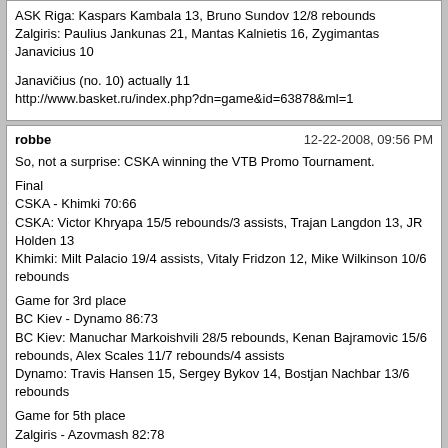ASK Riga: Kaspars Kambala 13, Bruno Sundov 12/8 rebounds
Zalgiris: Paulius Jankunas 21, Mantas Kalnietis 16, Zygimantas Janavicius 10

Janavičius (no. 10) actually 11
http://www.basket.ru/index.php?dn=game&id=63878&ml=1
robbe  12-22-2008, 09:56 PM

So, not a surprise: CSKA winning the VTB Promo Tournament.

Final
CSKA - Khimki 70:66
CSKA: Victor Khryapa 15/5 rebounds/3 assists, Trajan Langdon 13, JR Holden 13
Khimki: Milt Palacio 19/4 assists, Vitaly Fridzon 12, Mike Wilkinson 10/6 rebounds

Game for 3rd place
BC Kiev - Dynamo 86:73
BC Kiev: Manuchar Markoishvili 28/5 rebounds, Kenan Bajramovic 15/6 rebounds, Alex Scales 11/7 rebounds/4 assists
Dynamo: Travis Hansen 15, Sergey Bykov 14, Bostjan Nachbar 13/6 rebounds

Game for 5th place
Zalgiris - Azovmash 82:78
Zalgiris: Jonas Maciulis 20, Dainius Salenga 20, Paulius Jankunas 15/15 rebounds
Azovmash: Uchenna Nsonwu 20/11 rebounds, Simonas Serapinas 18, Khalid El-Amin 15

Game for 7th place
ASK Riga - Prokom 76:56
Riga: Bruno Sundov 23/13 rebounds, Kaspars Kambala 23/8 rebounds, Aigars Vitols 10
Prokom: Filip Dylewicz 10/6 rebounds, Alexey Nesovic 10, Ronnie Burrell 9/8